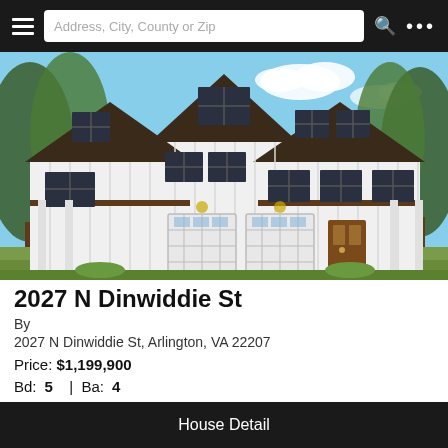Address, City, County or Zip
[Figure (photo): Exterior rendering of a large white modern farmhouse with two-car garage, board-and-batten siding, dark window frames, and brown roof accents, surrounded by trees.]
2027 N Dinwiddie St
By
2027 N Dinwiddie St, Arlington, VA 22207
Price: $1,199,900
Bd: 5  |  Ba: 4
House Detail